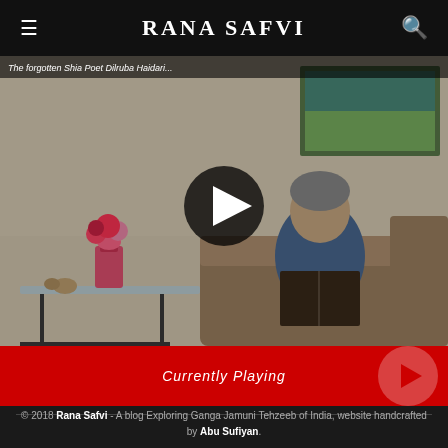Rana Safvi
[Figure (screenshot): Video thumbnail showing a person sitting on a sofa reading a book, with flowers in a vase on a glass table, and a landscape painting on the wall. A YouTube-style play button overlay is visible in the center.]
Currently Playing
© 2018 Rana Safvi - A blog Exploring Ganga Jamuni Tehzeeb of India, website handcrafted by Abu Sufiyan.